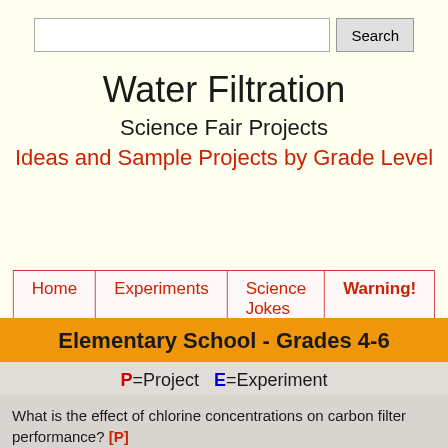[Figure (screenshot): Search bar with text input and Search button]
Water Filtration
Science Fair Projects
Ideas and Sample Projects by Grade Level
[Figure (screenshot): Navigation bar with links: Home, Experiments, Science Jokes, Warning!]
Elementary School - Grades 4-6
P=Project   E=Experiment
What is the effect of chlorine concentrations on carbon filter performance? [P]